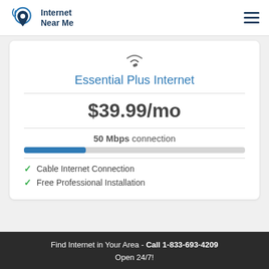Internet Near Me
Essential Plus Internet
$39.99/mo
50 Mbps connection
Cable Internet Connection
Free Professional Installation
Find Internet in Your Area - Call 1-833-693-4209 Open 24/7!